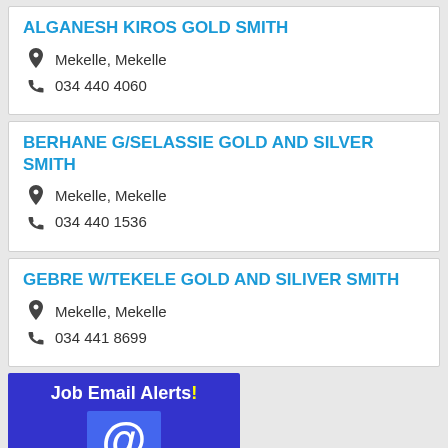ALGANESH KIROS GOLD SMITH
Mekelle, Mekelle
034 440 4060
BERHANE G/SELASSIE GOLD AND SILVER SMITH
Mekelle, Mekelle
034 440 1536
GEBRE W/TEKELE GOLD AND SILIVER SMITH
Mekelle, Mekelle
034 441 8699
[Figure (infographic): Job Email Alerts! banner with @ symbol icon on blue background]